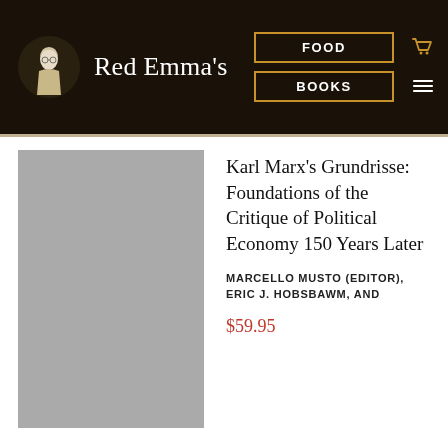Red Emma's — FOOD | BOOKS
[Figure (illustration): Gray placeholder rectangle representing book cover image]
Karl Marx's Grundrisse: Foundations of the Critique of Political Economy 150 Years Later
MARCELLO MUSTO (EDITOR), ERIC J. HOBSBAWM, AND
$59.95